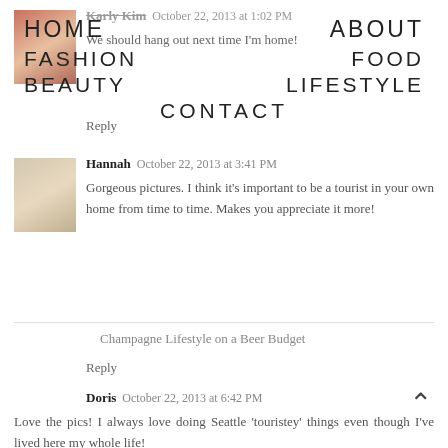HOME   ABOUT   FASHION   FOOD   BEAUTY   LIFESTYLE   CONTACT
Karly Kim · October 22, 2013 at 1:02 PM
We should hang out next time I'm home!
Reply
Hannah · October 22, 2013 at 3:41 PM
Gorgeous pictures. I think it's important to be a tourist in your own home from time to time. Makes you appreciate it more!
Champagne Lifestyle on a Beer Budget
Reply
Doris · October 22, 2013 at 6:42 PM
Love the pics! I always love doing Seattle 'touristey' things even though I've lived here my whole life!
-doris
www.iwearshirtsasdresses.com